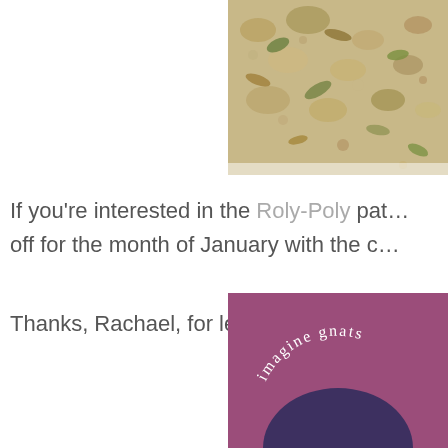[Figure (photo): Photo of autumn leaves and pebbles on ground, shown in top-right corner, partially cropped]
If you're interested in the Roly-Poly pat… off for the month of January with the c…
Thanks, Rachael, for letting me try out y…
[Figure (logo): Logo with purple/mauve background, dark navy semicircle at bottom, and curved text reading 'imagine gnats']